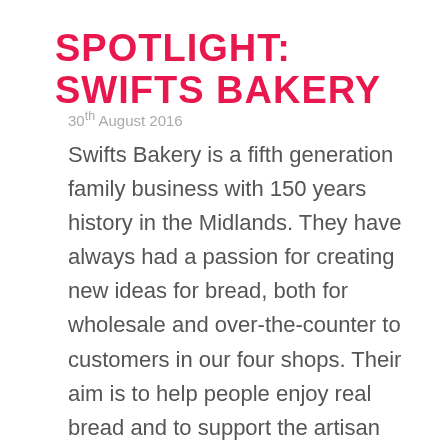SPOTLIGHT: SWIFTS BAKERY
30th August 2016
Swifts Bakery is a fifth generation family business with 150 years history in the Midlands. They have always had a passion for creating new ideas for bread, both for wholesale and over-the-counter to customers in our four shops. Their aim is to help people enjoy real bread and to support the artisan